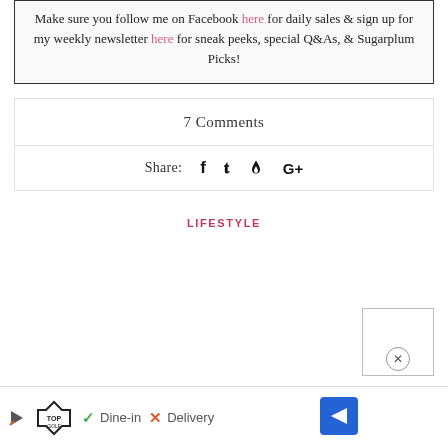Make sure you follow me on Facebook here for daily sales & sign up for my weekly newsletter here for sneak peeks, special Q&As, & Sugarplum Picks!
7 Comments
Share: f (Facebook) (Twitter) p (Pinterest) G+ (Google Plus)
LIFESTYLE
[Figure (other): Advertisement bar: TopGolf logo with play button, Dine-in (checkmark) and Delivery (X) options, navigation arrow button]